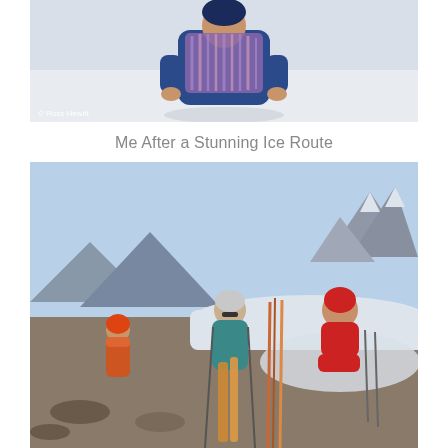[Figure (photo): Person wearing blue jacket and carrying a coiled purple/pink rope over their shoulders, standing in a snowy environment. Photo credit: © Ross Hewitt.]
Me After a Stunning Ice Route
[Figure (photo): Three people with skis and ski poles resting on a rocky snowy ridge with dramatic mountain peaks in the background under a blue sky. One person in red jacket sits on rocks to the right, one person in teal jacket stands center adjusting gear, one person in orange jacket stands to the left.]